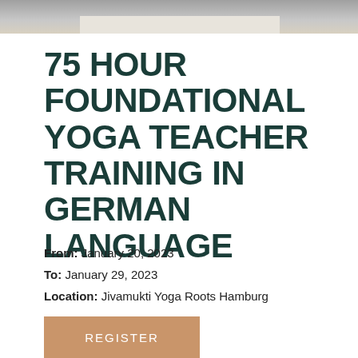[Figure (photo): Top banner image showing a muted gray and beige background photograph, partially visible at the top of the page]
75 HOUR FOUNDATIONAL YOGA TEACHER TRAINING IN GERMAN LANGUAGE
From:  January 20, 2023
To:  January 29, 2023
Location:  Jivamukti Yoga Roots Hamburg
REGISTER